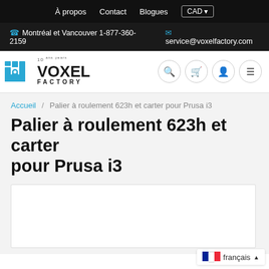À propos  Contact  Blogues  CAD
Montréal et Vancouver 1-877-360-2159  service@voxelfactory.com
[Figure (logo): Voxel Factory logo with shield icon and '10 ans years' text]
Accueil / Palier à roulement 623h et carter pour Prusa i3
Palier à roulement 623h et carter pour Prusa i3
[Figure (photo): Product image area (white box, mostly blank visible area)]
français